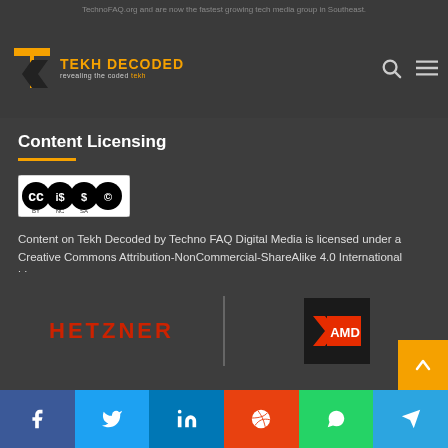TechnoFAQ.org and are now the fastest growing tech media group in Southeast.
[Figure (logo): Tekh Decoded logo — orange T-D icon with text 'TEKH DECODED' and tagline 'revealing the coded tekh']
Content Licensing
[Figure (illustration): Creative Commons BY-NC-SA license badge]
Content on Tekh Decoded by Techno FAQ Digital Media is licensed under a Creative Commons Attribution-NonCommercial-ShareAlike 4.0 International License.
Super-powered By
[Figure (logo): Hetzner logo in red bold text and AMD logo in black box with red text]
Social share buttons: Facebook, Twitter, LinkedIn, Reddit, WhatsApp, Telegram